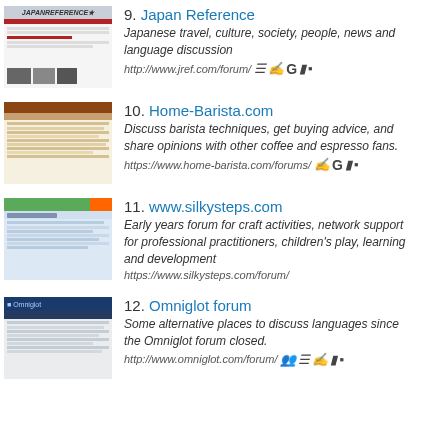9. Japan Reference — Japanese travel, culture, society, people, news and language discussion. http://www.jref.com/forum/
10. Home-Barista.com — Discuss barista techniques, get buying advice, and share opinions with other coffee and espresso fans. https://www.home-barista.com/forums/
11. www.silkysteps.com — Early years forum for craft activities, network support for professional practitioners, children's play, learning and development. https://www.silkysteps.com/forum/
12. Omniglot forum — Some alternative places to discuss languages since the Omniglot forum closed. http://www.omniglot.com/forum/